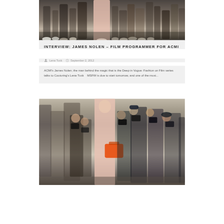[Figure (photo): Cropped street fashion photo showing legs and feet of crowd at fashion show, people standing on pavement]
INTERVIEW: JAMES NOLEN – FILM PROGRAMMER FOR ACMI
Lena Tuck   September 2, 2012
ACMI's James Nolen; the man behind the magic that is the Deep in Vogue: Fashion on Film series talks to Couturing's Lena Tuck    MSFW is due to start tomorrow, and one of the must...
[Figure (photo): Street fashion photography scene showing a tall woman in pink outfit surrounded by photographers with cameras, woman carrying orange handbag]